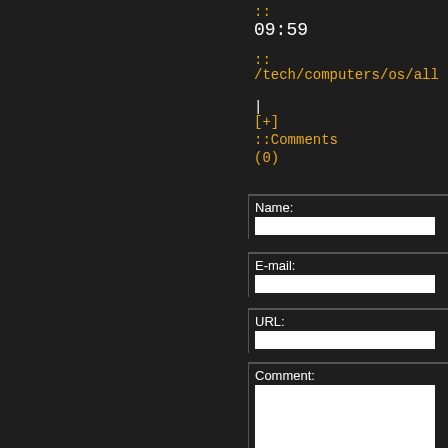::
09:59
::
/tech/computers/os/all
|
[+]
::Comments
(0)
Name:
E-mail:
URL:
Comment: